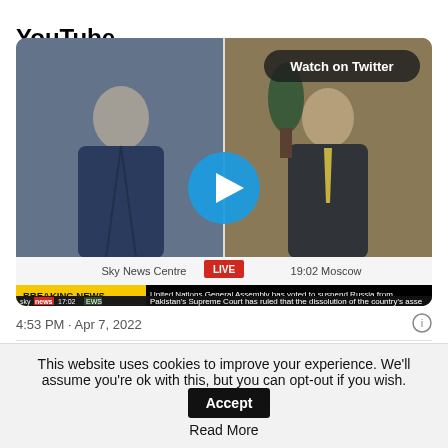YouTube
[Figure (screenshot): Embedded video thumbnail showing a Sky News split-screen interview. Left side: man in dark suit sitting, grey hair. Right side: man in dark suit with yellow tie. Center: blue circular play button. Top right corner: 'Watch on Twitter' dark pill label. Bottom bar shows 'Sky News Centre', 'LIVE' red badge, '19:02 Moscow'. Breaking news ticker: 'BREAKING NEWS' on yellow background, 'United Nations General Assembly has voted to suspend Russia from Human Rights Council, with U.S.-led push garnering 93 votes in favour'. Second ticker line: 'Pakistan's Supreme Court has ruled that the dissolution of the country's asse'. Sky News logo, '17:02', 'EWS' badge visible.]
4:53 PM · Apr 7, 2022
353  Reply  Copy link
Read 304 replies
This website uses cookies to improve your experience. We'll assume you're ok with this, but you can opt-out if you wish.  Accept  Read More